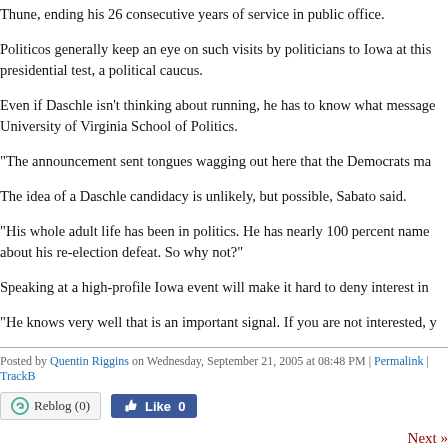Thune, ending his 26 consecutive years of service in public office.
Politicos generally keep an eye on such visits by politicians to Iowa at this presidential test, a political caucus.
Even if Daschle isn't thinking about running, he has to know what message University of Virginia School of Politics.
"The announcement sent tongues wagging out here that the Democrats ma
The idea of a Daschle candidacy is unlikely, but possible, Sabato said.
"His whole adult life has been in politics. He has nearly 100 percent name about his re-election defeat. So why not?"
Speaking at a high-profile Iowa event will make it hard to deny interest in
"He knows very well that is an important signal. If you are not interested, y
Posted by Quentin Riggins on Wednesday, September 21, 2005 at 08:48 PM | Permalink | TrackB
Next »
South Dakota Politics | Powered by TypePad